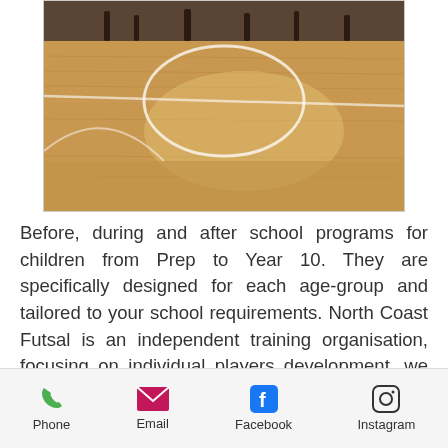[Figure (photo): Indoor futsal/sports court with wooden floor, white court lines visible, and people standing in background]
Before, during and after school programs for children from Prep to Year 10. They are specifically designed for each age-group and tailored to your school requirements. North Coast Futsal is an independent training organisation, focusing on individual players development, we provide support and encouragement to all our students who are following and participating in pathways within known national and international associations, both in futsal and football. Learn more
Phone  Email  Facebook  Instagram